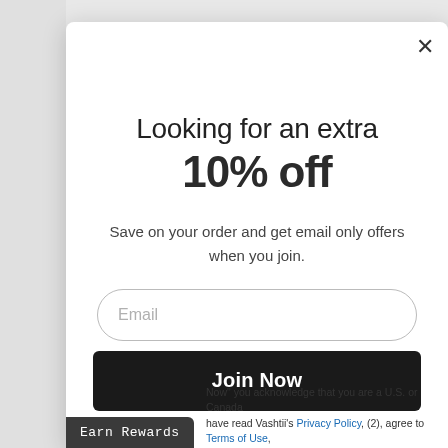Looking for an extra 10% off
Save on your order and get email only offers when you join.
Email
Join Now
Earn Rewards
Now" you acknowledge that you are a U.S. or Canada have read Vashtii's Privacy Policy, (2), agree to Terms of Use,